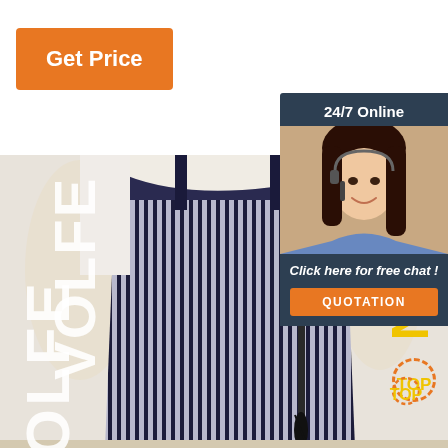[Figure (photo): Product photo of striped navy/white wide-leg trousers on a mannequin, with a mascara wand visible on the right side. Text 'VOLFE' visible on left, partial text on right side.]
Get Price
24/7 Online
Click here for free chat !
QUOTATION
TOP